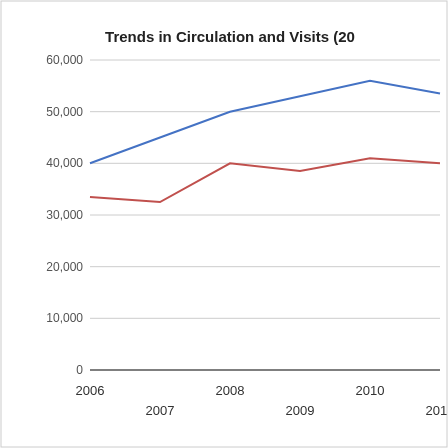[Figure (line-chart): Trends in Circulation and Visits (20...]